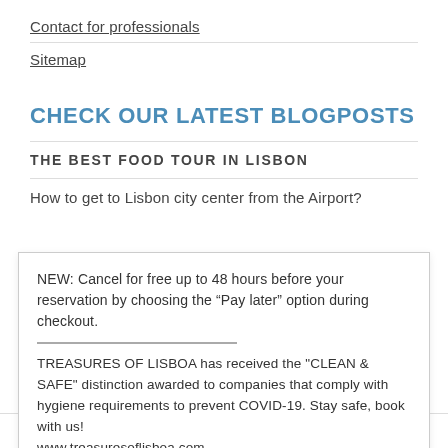Contact for professionals
Sitemap
CHECK OUR LATEST BLOGPOSTS
THE BEST FOOD TOUR IN LISBON
How to get to Lisbon city center from the Airport?
NEW: Cancel for free up to 48 hours before your reservation by choosing the “Pay later” option during checkout.

TREASURES OF LISBOA has received the "CLEAN & SAFE" distinction awarded to companies that comply with hygiene requirements to prevent COVID-19. Stay safe, book with us!
www.treasuresoflisboa.com
Thanks, that's great!
5. Our Food Tours in Lisbon are the only ones PLASTIC